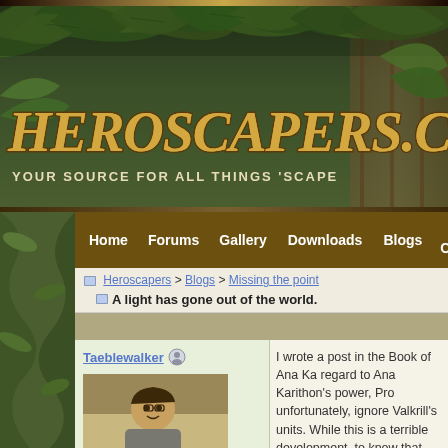[Figure (illustration): Heroscapers.com website banner with jungle foliage background, large stylized gold logo text reading HEROSCAPERS.COM and tagline YOUR SOURCE FOR ALL THINGS 'SCAPE]
Home  Forums  Gallery  Downloads  Blogs  Events Calendar
Heroscapers > Blogs > Missing the point
A light has gone out of the world.
Taeblewalker
I wrote a post in the Book of Ana Ka regard to Ana Karithon's power, Pro unfortunately, ignore Valkrill's units. While this is a terrible development, to know that they were even getting "evil," at the time they designed the the chance to include Valkrill, but m